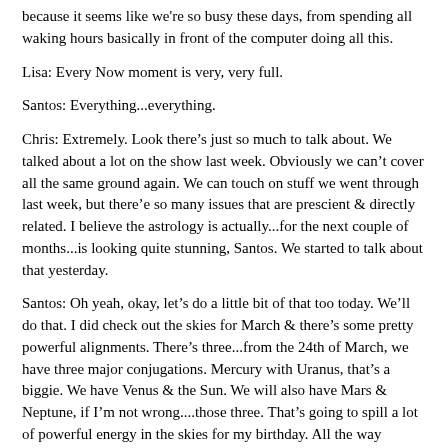because it seems like we're so busy these days, from spending all waking hours basically in front of the computer doing all this.
Lisa: Every Now moment is very, very full.
Santos: Everything...everything.
Chris: Extremely. Look there’s just so much to talk about. We talked about a lot on the show last week. Obviously we can’t cover all the same ground again. We can touch on stuff we went through last week, but there’e so many issues that are prescient & directly related. I believe the astrology is actually...for the next couple of months...is looking quite stunning, Santos. We started to talk about that yesterday.
Santos: Oh yeah, okay, let’s do a little bit of that too today. We’ll do that. I did check out the skies for March & there’s some pretty powerful alignments. There’s three...from the 24th of March, we have three major conjugations. Mercury with Uranus, that’s a biggie. We have Venus & the Sun. We will also have Mars & Neptune, if I’m not wrong....those three. That’s going to spill a lot of powerful energy in the skies for my birthday. All the way to...someone’s got some background noise by the way, + that’s